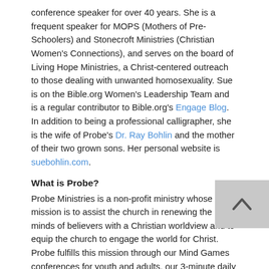conference speaker for over 40 years. She is a frequent speaker for MOPS (Mothers of Pre-Schoolers) and Stonecroft Ministries (Christian Women's Connections), and serves on the board of Living Hope Ministries, a Christ-centered outreach to those dealing with unwanted homosexuality. Sue is on the Bible.org Women's Leadership Team and is a regular contributor to Bible.org's Engage Blog. In addition to being a professional calligrapher, she is the wife of Probe's Dr. Ray Bohlin and the mother of their two grown sons. Her personal website is suebohlin.com.
What is Probe?
Probe Ministries is a non-profit ministry whose mission is to assist the church in renewing the minds of believers with a Christian worldview and to equip the church to engage the world for Christ. Probe fulfills this mission through our Mind Games conferences for youth and adults, our 3-minute daily radio program, and our extensive Web site at www.probe.org.
Further information about Probe's materials and ministry may be obtained by contacting us at:
Probe Ministries
2001 W. Plano Parkway, Suite 2000
Plano TX 75075